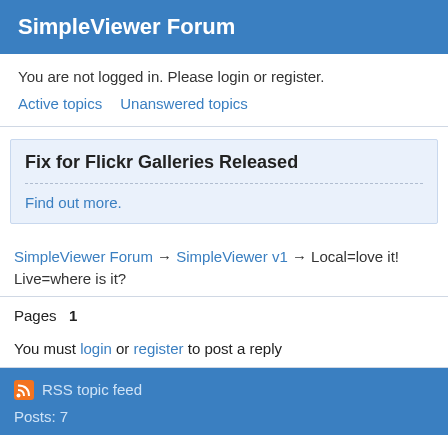SimpleViewer Forum
You are not logged in. Please login or register.
Active topics    Unanswered topics
Fix for Flickr Galleries Released
Find out more.
SimpleViewer Forum → SimpleViewer v1 → Local=love it! Live=where is it?
Pages   1
You must login or register to post a reply
RSS topic feed
Posts: 7